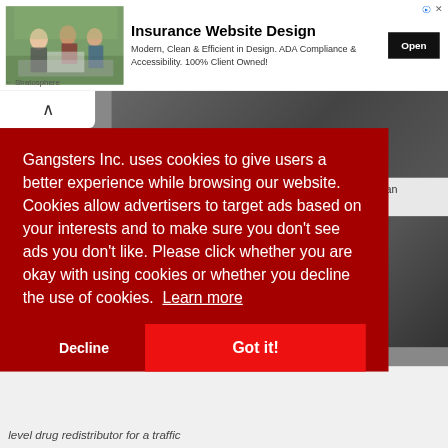[Figure (screenshot): Advertisement banner: Insurance Website Design. Shows office workers photo on left, bold title 'Insurance Website Design', body text 'Modern, Clean & Efficient in Design. ADA Compliance & Accessibility. 100% Client Owned!', black 'Open' button, corner icons, and 'Stratosphere' attribution.]
[Figure (photo): Background webpage content partially visible: dark rocky/stone textured image on upper right, light grey panel on lower right with text 'drian' and partial text, and bottom strip with italic text 'level drug redistributor for a traffic']
Gangsters Inc. uses cookies to give users a better experience while browsing our website. Cookies allow advertisers to target ads based on your interests and to make sure you don't see ads you don't like. Please click whether you are okay with using cookies or whether you decline the use of cookies.  Learn more
Decline
Got it!